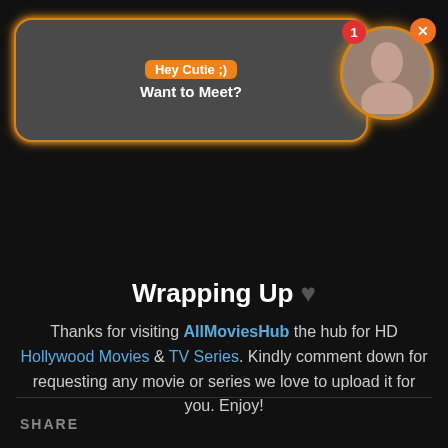[Figure (screenshot): Ad popup banner with orange border showing 'Hey Cutie ;) Want to Meet?' text, with a notification badge showing '1', a profile photo circle, and an orange X close button]
Wrapping Up ♥
Thanks for visiting AllMoviesHub the hub for HD Hollywood Movies & TV Series. Kindly comment down for requesting any movie or series we love to upload it for you. Enjoy!
SHARE